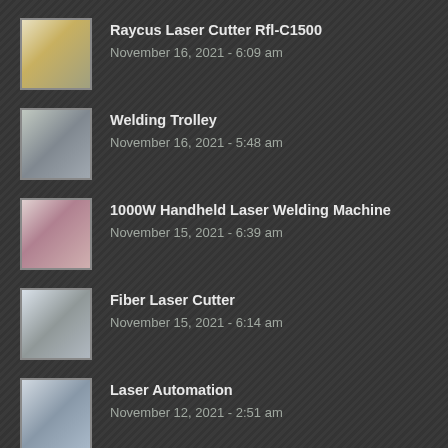Raycus Laser Cutter Rfl-C1500
November 16, 2021 - 6:09 am
Welding Trolley
November 16, 2021 - 5:48 am
1000W Handheld Laser Welding Machine
November 15, 2021 - 6:39 am
Fiber Laser Cutter
November 15, 2021 - 6:14 am
Laser Automation
November 12, 2021 - 2:51 am
CONTACT INFO
SUZHOU WALDUN WELDING CO.,LTD
Address: Zhongshan Road, Fenghuang Town,